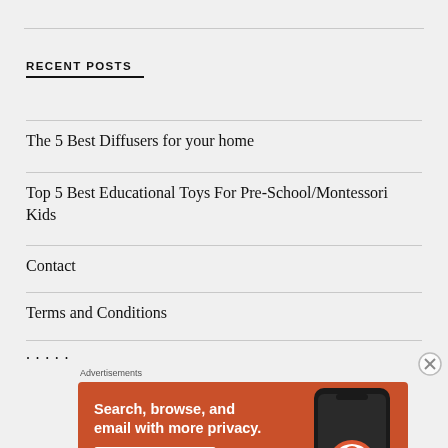RECENT POSTS
The 5 Best Diffusers for your home
Top 5 Best Educational Toys For Pre-School/Montessori Kids
Contact
Terms and Conditions
[Figure (screenshot): DuckDuckGo advertisement banner on orange background. Text reads: 'Search, browse, and email with more privacy. All in One Free App'. Shows a smartphone with DuckDuckGo logo. Labeled 'Advertisements' above the banner. Close button (X) in top right corner.]